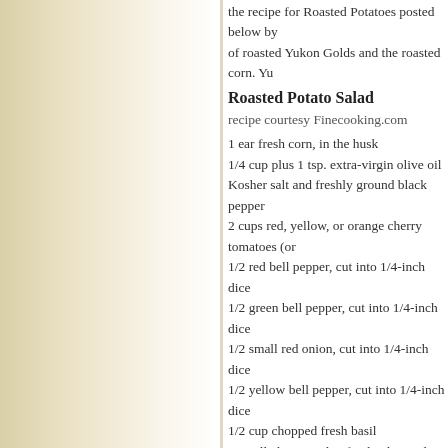the recipe for Roasted Potatoes posted below by... of roasted Yukon Golds and the roasted corn. Yu...
Roasted Potato Salad
recipe courtesy Finecooking.com
1 ear fresh corn, in the husk
1/4 cup plus 1 tsp. extra-virgin olive oil
Kosher salt and freshly ground black pepper
2 cups red, yellow, or orange cherry tomatoes (or...
1/2 red bell pepper, cut into 1/4-inch dice
1/2 green bell pepper, cut into 1/4-inch dice
1/2 small red onion, cut into 1/4-inch dice
1/2 yellow bell pepper, cut into 1/4-inch dice
1/2 cup chopped fresh basil
2 small cloves garlic, finely chopped
2lbs roasted Yukon Gold or Red Potatoes
3 Tbs. red-wine vinegar
Position a rack in the center of the oven and heat... Remove the husk and put the corn on a small bak... of the oil onto the corn and rub it over all the ker... kosher salt and pepper. Roast, turning the cob oc...